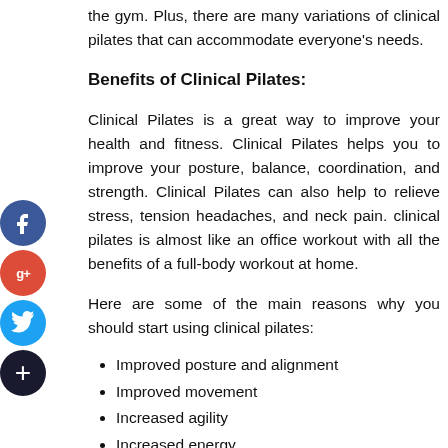the gym. Plus, there are many variations of clinical pilates that can accommodate everyone's needs.
Benefits of Clinical Pilates:
Clinical Pilates is a great way to improve your health and fitness. Clinical Pilates helps you to improve your posture, balance, coordination, and strength. Clinical Pilates can also help to relieve stress, tension headaches, and neck pain. clinical pilates is almost like an office workout with all the benefits of a full-body workout at home.
Here are some of the main reasons why you should start using clinical pilates:
Improved posture and alignment
Improved movement
Increased agility
Increased energy